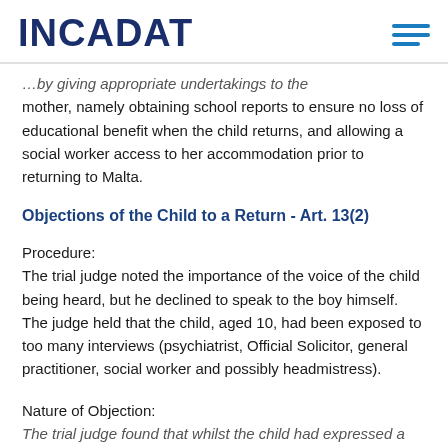INCADAT
…by giving appropriate undertakings to the mother, namely obtaining school reports to ensure no loss of educational benefit when the child returns, and allowing a social worker access to her accommodation prior to returning to Malta.
Objections of the Child to a Return - Art. 13(2)
Procedure:
The trial judge noted the importance of the voice of the child being heard, but he declined to speak to the boy himself. The judge held that the child, aged 10, had been exposed to too many interviews (psychiatrist, Official Solicitor, general practitioner, social worker and possibly headmistress).
Nature of Objection:
The trial judge found that whilst the child had expressed a degree of…